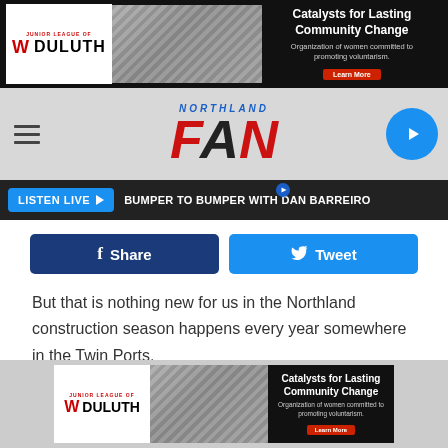[Figure (other): Top advertisement banner: Junior League of Duluth logo with group photo, 'Catalysts for Lasting Community Change' ad text, Learn More button]
[Figure (other): Northland FAN radio station navigation bar with hamburger menu, logo, and play button]
[Figure (other): Listen Live button with 'BUMPER TO BUMPER WITH DAN BARREIRO' text bar]
[Figure (other): Facebook Share and Twitter Tweet social media buttons]
But that is nothing new for us in the Northland construction season happens every year somewhere in the Twin Ports.
TWIN PORTS ROADS TO AVOID IN THE WINTER
[Figure (other): Bottom advertisement banner: Junior League of Duluth logo with group photo, 'Catalysts for Lasting Community Change' ad text, Learn More button]